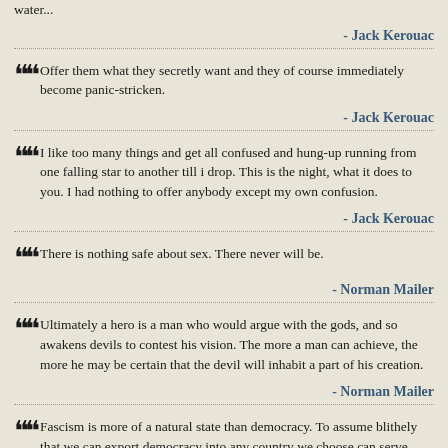water...
- Jack Kerouac
Offer them what they secretly want and they of course immediately become panic-stricken.
- Jack Kerouac
I like too many things and get all confused and hung-up running from one falling star to another till i drop. This is the night, what it does to you. I had nothing to offer anybody except my own confusion.
- Jack Kerouac
There is nothing safe about sex. There never will be.
- Norman Mailer
Ultimately a hero is a man who would argue with the gods, and so awakens devils to contest his vision. The more a man can achieve, the more he may be certain that the devil will inhabit a part of his creation.
- Norman Mailer
Fascism is more of a natural state than democracy. To assume blithely that we can export democracy into any country we choose can serve paradoxically to encourage more fascism at home and abroad. Democracy is a state of grace...